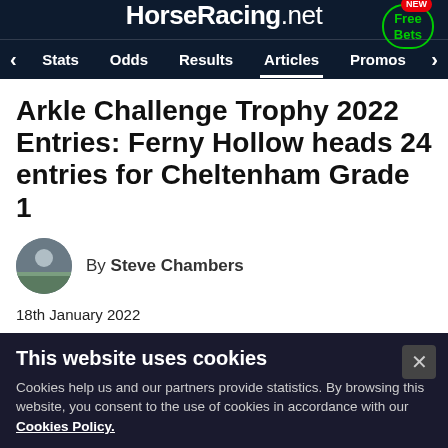HorseRacing.net
Stats | Odds | Results | Articles | Promos
Arkle Challenge Trophy 2022 Entries: Ferny Hollow heads 24 entries for Cheltenham Grade 1
By Steve Chambers
18th January 2022
This website uses cookies
Cookies help us and our partners provide statistics. By browsing this website, you consent to the use of cookies in accordance with our Cookies Policy.
Accept & Close